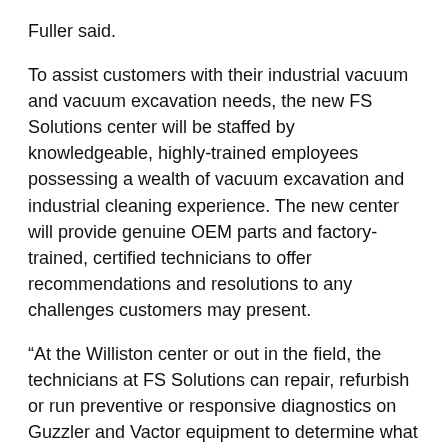Fuller said.
To assist customers with their industrial vacuum and vacuum excavation needs, the new FS Solutions center will be staffed by knowledgeable, highly-trained employees possessing a wealth of vacuum excavation and industrial cleaning experience. The new center will provide genuine OEM parts and factory-trained, certified technicians to offer recommendations and resolutions to any challenges customers may present.
“At the Williston center or out in the field, the technicians at FS Solutions can repair, refurbish or run preventive or responsive diagnostics on Guzzler and Vactor equipment to determine what needs to be done to keep it in good working order – and get it back on the job,” Fuller said. “FS Solutions brings new life to used industrial vacuum and vacuum excavation trucks, providing our customers with an affordable option for investing in new equipment."